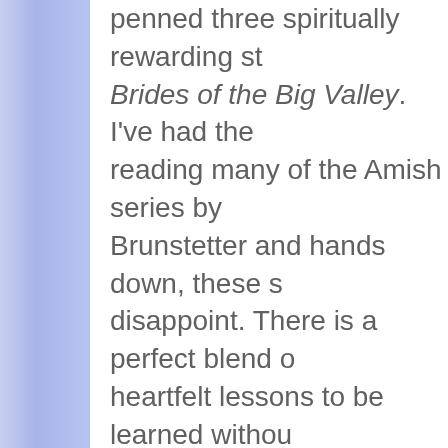penned three spiritually rewarding stories... Brides of the Big Valley. I've had the reading many of the Amish series by Brunstetter and hands down, these s disappoint. There is a perfect blend o heartfelt lessons to be learned withou notion of ad nauseum preaching. The steady ebb and flow throughout the r ending to each story is never predicta Brunstetters have a signature style o subtle seeds throughout the story line into a garden of 'feel good' at story's continue to be a fan of their work and forward to the next book in this series
Quill says: The Brides of the Big Valle full of inspiration and valuable lesson